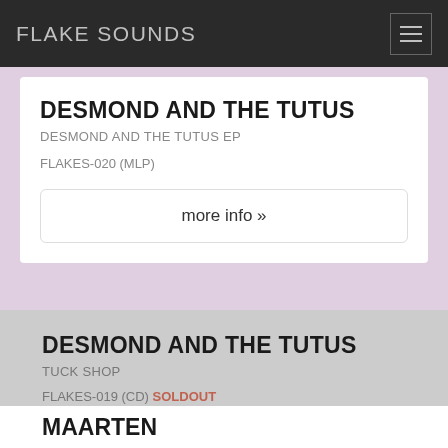FLAKE SOUNDS
DESMOND AND THE TUTUS
DESMOND AND THE TUTUS EP
FLAKES-020 (MLP)
more info »
DESMOND AND THE TUTUS
TUCK SHOP
FLAKES-019 (CD) SOLDOUT
more info »
MAARTEN